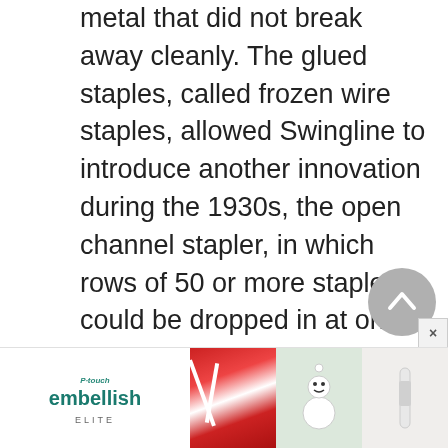metal that did not break away cleanly. The glued staples, called frozen wire staples, allowed Swingline to introduce another innovation during the 1930s, the open channel stapler, in which rows of 50 or more staples could be dropped in at once. Swingline also developed a stroke control that almost eliminated the common problem of staples jamming.
ACCO and Swingline were deeply affe... ar
[Figure (other): Back/up navigation button — circular grey button with upward-pointing chevron (^) symbol]
[Figure (other): Advertisement banner for P-touch Embellish Elite featuring product logo on left and three product/holiday images on right. A close (x) button appears in the upper right of the ad.]